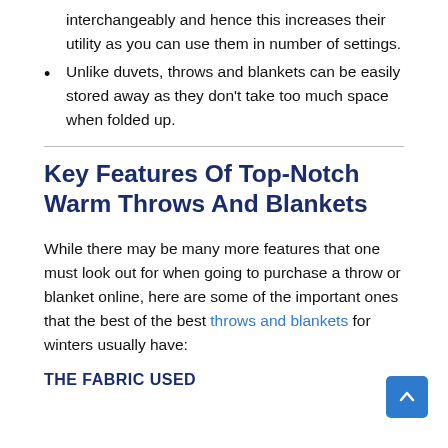interchangeably and hence this increases their utility as you can use them in number of settings.
Unlike duvets, throws and blankets can be easily stored away as they don't take too much space when folded up.
Key Features Of Top-Notch Warm Throws And Blankets
While there may be many more features that one must look out for when going to purchase a throw or blanket online, here are some of the important ones that the best of the best throws and blankets for winters usually have:
THE FABRIC USED